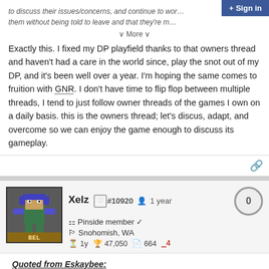to discuss their issues/concerns, and continue to wor... them without being told to leave and that they're m...
Exactly this. I fixed my DP playfield thanks to that owners thread and haven't had a care in the world since, play the snot out of my DP, and it's been well over a year. I'm hoping the same comes to fruition with GNR. I don't have time to flip flop between multiple threads, I tend to just follow owner threads of the games I own on a daily basis. this is the owners thread; let's discus, adapt, and overcome so we can enjoy the game enough to discuss its gameplay.
Xelz #10920 1 year 0
Pinside member
Snohomish, WA
1y 47,050 664 4
Quoted from Eskaybee: Exactly this. I fixed my DP playfield thanks to that owners thread and haven't had a care in the world since, play the snot out of my DP, and it's been well over a year. I'm